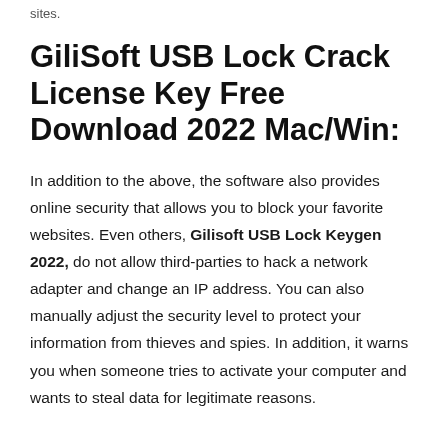sites.
GiliSoft USB Lock Crack License Key Free Download 2022 Mac/Win:
In addition to the above, the software also provides online security that allows you to block your favorite websites. Even others, Gilisoft USB Lock Keygen 2022, do not allow third-parties to hack a network adapter and change an IP address. You can also manually adjust the security level to protect your information from thieves and spies. In addition, it warns you when someone tries to activate your computer and wants to steal data for legitimate reasons.